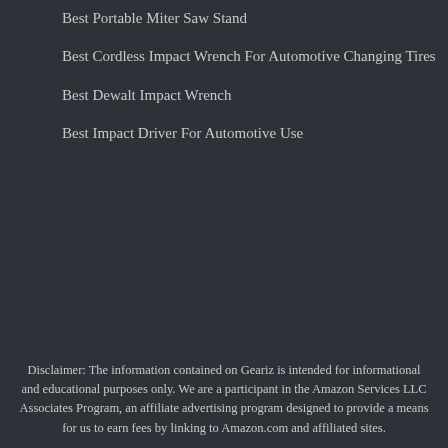Best Portable Miter Saw Stand
Best Cordless Impact Wrench For Automotive Changing Tires
Best Dewalt Impact Wrench
Best Impact Driver For Automotive Use
Disclaimer: The information contained on Geariz is intended for informational and educational purposes only. We are a participant in the Amazon Services LLC Associates Program, an affiliate advertising program designed to provide a means for us to earn fees by linking to Amazon.com and affiliated sites.